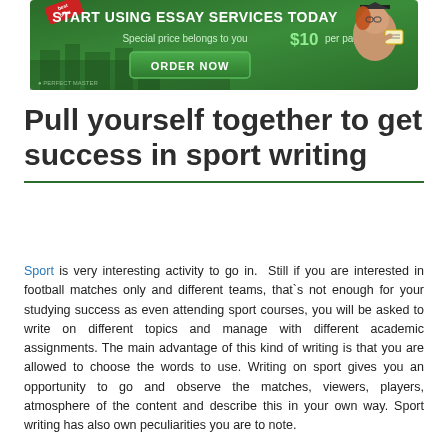[Figure (other): Advertisement banner for essay writing service: 'START USING ESSAY SERVICES TODAY — Special price belongs to you $10 per page! ORDER NOW' with a woman in graduation cap and gown on the right, and a 'best offer' badge on the top left.]
Pull yourself together to get success in sport writing
Sport is very interesting activity to go in.  Still if you are interested in football matches only and different teams, that`s not enough for your studying success as even attending sport courses, you will be asked to write on different topics and manage with different academic assignments. The main advantage of this kind of writing is that you are allowed to choose the words to use. Writing on sport gives you an opportunity to go and observe the matches, viewers, players, atmosphere of the content and describe this in your own way. Sport writing has also own peculiarities you are to note.